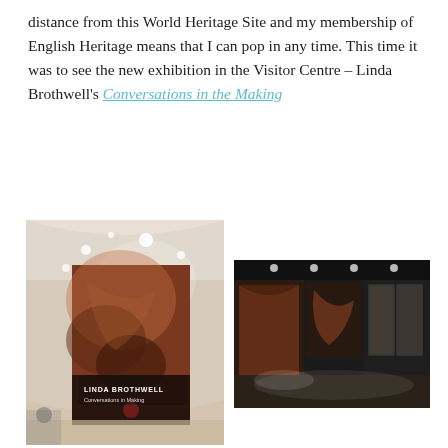distance from this World Heritage Site and my membership of English Heritage means that I can pop in any time. This time it was to see the new exhibition in the Visitor Centre – Linda Brothwell's Conversations in the Making
[Figure (photo): Photo of an interior gallery wall showing a large exhibition banner for 'LINDA BROTHWELL – Conversations in Making' with a dark reddish-brown artistic image. Recessed ceiling lights visible above the curved wall.]
[Figure (photo): Photo of the interior of the exhibition room with dark walls, illuminated display panels and vitrines showing artworks, and a light-coloured floor.]